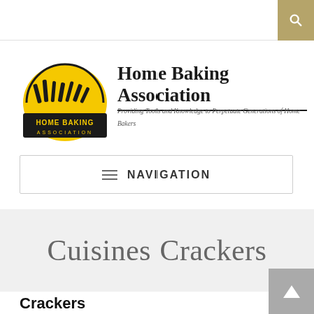Home Baking Association website header with search button
[Figure (logo): Home Baking Association logo: yellow semicircle with baking tools silhouette and text HOME BAKING ASSOCIATION]
Home Baking Association
Providing Tools and Knowledge to Perpetuate Generations of Home Bakers
NAVIGATION
Cuisines Crackers
Crackers